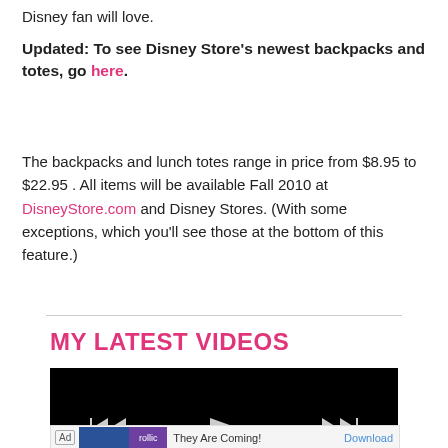Disney fan will love.
Updated: To see Disney Store's newest backpacks and totes, go here.
The backpacks and lunch totes range in price from $8.95 to $22.95 . All items will be available Fall 2010 at DisneyStore.com and Disney Stores. (With some exceptions, which you'll see those at the bottom of this feature.)
MY LATEST VIDEOS
[Figure (screenshot): Embedded video player showing a black screen with playback controls (rewind, play, skip) and an advertisement banner at the bottom showing 'They Are Coming!' with a Download link]